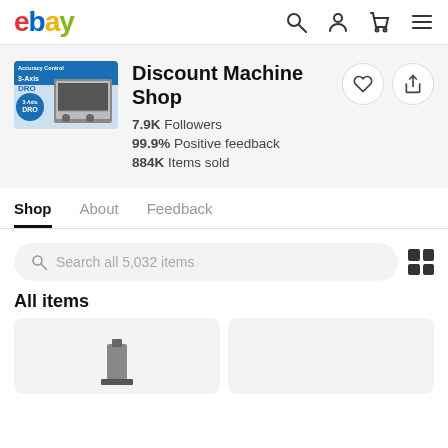ebay
[Figure (logo): Discount Machine Shop logo with 3-Axis DRO and Accuracy Control text]
Discount Machine Shop
7.9K Followers
99.9% Positive feedback
884K Items sold
Shop   About   Feedback
Search all 5,032 items
All items
[Figure (photo): Product thumbnail image placeholder 1]
[Figure (photo): Product thumbnail image placeholder 2]